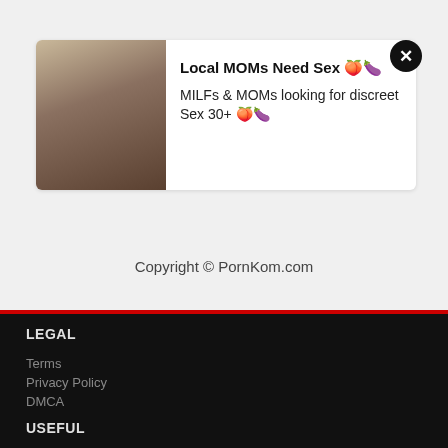[Figure (photo): Ad card with a woman's photo on the left and text on the right, with a close button]
Local MOMs Need Sex 🍑🍆
MILFs & MOMs looking for discreet Sex 30+ 🍑🍆
Copyright © PornKom.com
LEGAL
Terms
Privacy Policy
DMCA
USEFUL